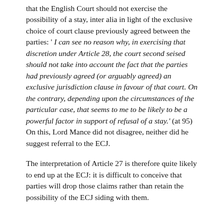that the English Court should not exercise the possibility of a stay, inter alia in light of the exclusive choice of court clause previously agreed between the parties: ' I can see no reason why, in exercising that discretion under Article 28, the court second seised should not take into account the fact that the parties had previously agreed (or arguably agreed) an exclusive jurisdiction clause in favour of that court. On the contrary, depending upon the circumstances of the particular case, that seems to me to be likely to be a powerful factor in support of refusal of a stay.' (at 95) On this, Lord Mance did not disagree, neither did he suggest referral to the ECJ.
The interpretation of Article 27 is therefore quite likely to end up at the ECJ: it is difficult to conceive that parties will drop those claims rather than retain the possibility of the ECJ siding with them.